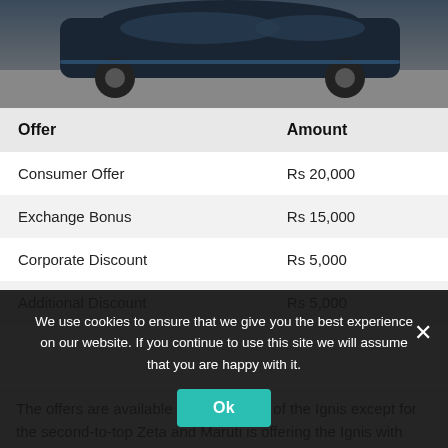[Figure (photo): Partial photo of a dark blue car from behind, on a grey road surface]
| Offer | Amount |
| --- | --- |
| Consumer Offer | Rs 20,000 |
| Exchange Bonus | Rs 15,000 |
| Corporate Discount | Rs 5,000 |
| Additional Discount | Rs 5,000 |
The offers are available on all variants of the Ignis except for the second-to-top Zeta and Maruti is offering the Ignis with
We use cookies to ensure that we give you the best experience on our website. If you continue to use this site we will assume that you are happy with it.